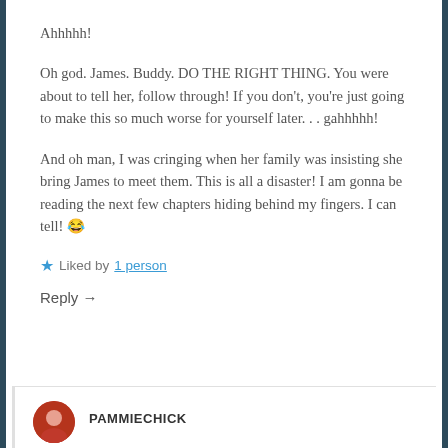Ahhhhh!
Oh god. James. Buddy. DO THE RIGHT THING. You were about to tell her, follow through! If you don't, you're just going to make this so much worse for yourself later. . . gahhhhh!
And oh man, I was cringing when her family was insisting she bring James to meet them. This is all a disaster! I am gonna be reading the next few chapters hiding behind my fingers. I can tell! 😂
★ Liked by 1 person
Reply →
PAMMIECHICK